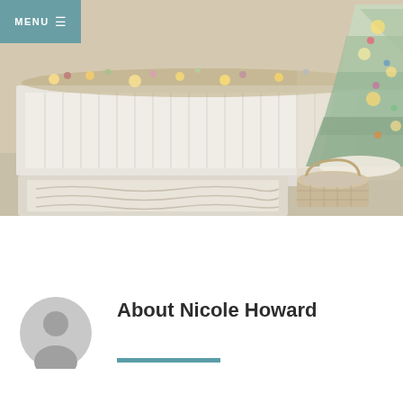MENU ≡
[Figure (photo): Interior room photo showing a white radiator cover decorated with pink and green floral garland and warm fairy lights, a large flocked Christmas tree decorated with colorful ornaments on the right, a patterned cream rug in the center foreground, and a woven basket on the right side.]
[Figure (illustration): Circular grey user avatar/profile placeholder icon]
About Nicole Howard